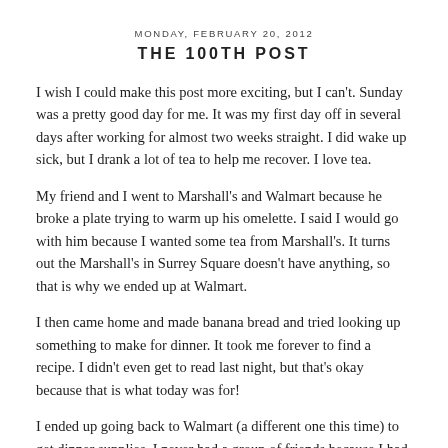MONDAY, FEBRUARY 20, 2012
THE 100TH POST
I wish I could make this post more exciting, but I can't. Sunday was a pretty good day for me. It was my first day off in several days after working for almost two weeks straight. I did wake up sick, but I drank a lot of tea to help me recover. I love tea.
My friend and I went to Marshall's and Walmart because he broke a plate trying to warm up his omelette. I said I would go with him because I wanted some tea from Marshall's. It turns out the Marshall's in Surrey Square doesn't have anything, so that is why we ended up at Walmart.
I then came home and made banana bread and tried looking up something to make for dinner. It took me forever to find a recipe. I didn't even get to read last night, but that's okay because that is what today was for!
I ended up going back to Walmart (a different one this time) to get dinner supplies. I never had a group of friends because I had a big dinner